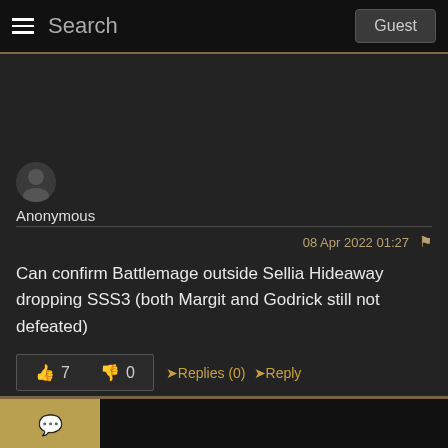Search  Guest
Anonymous
08 Apr 2022 01:27
Can confirm Battlemage outside Sellia Hideaway dropping SSS3 (both Margit and Godrick still not defeated)
👍 7   👎 0   ➜Replies (0)   ➜Reply   ↑↑ ↑↑